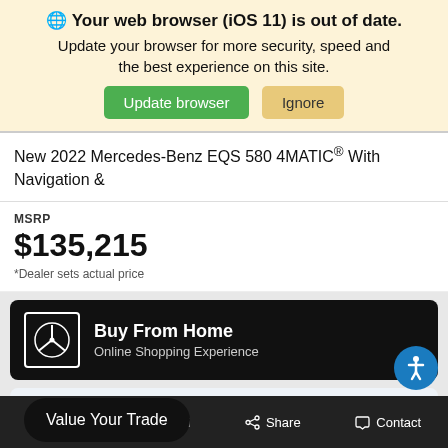🌐 Your web browser (iOS 11) is out of date. Update your browser for more security, speed and the best experience on this site.
Update browser | Ignore
New 2022 Mercedes-Benz EQS 580 4MATIC® With Navigation &
MSRP
$135,215
*Dealer sets actual price
[Figure (screenshot): Buy From Home - Online Shopping Experience panel with Mercedes-Benz logo]
[Figure (screenshot): Value Your Trade button overlaid on trade-in card showing 'In' and 'alue' text]
Filter  Saved  Share  Contact